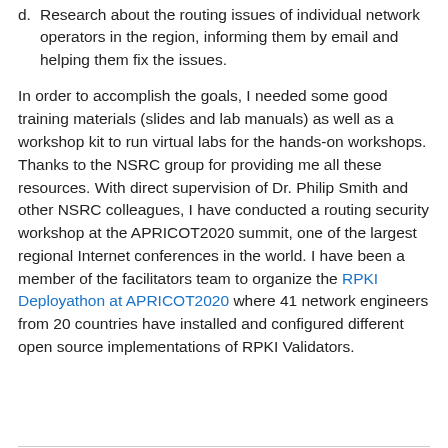d. Research about the routing issues of individual network operators in the region, informing them by email and helping them fix the issues.
In order to accomplish the goals, I needed some good training materials (slides and lab manuals) as well as a workshop kit to run virtual labs for the hands-on workshops. Thanks to the NSRC group for providing me all these resources. With direct supervision of Dr. Philip Smith and other NSRC colleagues, I have conducted a routing security workshop at the APRICOT2020 summit, one of the largest regional Internet conferences in the world. I have been a member of the facilitators team to organize the RPKI Deployathon at APRICOT2020 where 41 network engineers from 20 countries have installed and configured different open source implementations of RPKI Validators.